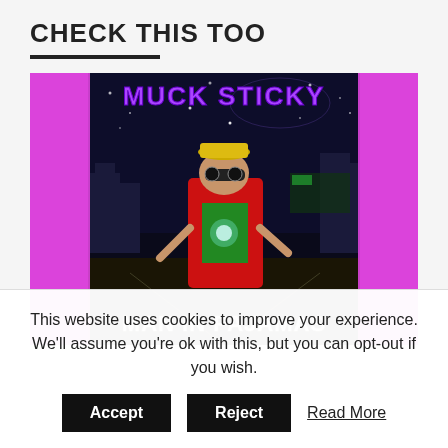CHECK THIS TOO
[Figure (illustration): Album cover for 'Man In Pajamas' by Muck Sticky. Shows a man in a red suit and hat with sunglasses posing in front of a city street at night, with magenta/pink borders, and glowing star/space background. Text 'MUCK STICKY' at top and 'MAN IN PAJAMAS' at bottom in stylized fonts.]
This website uses cookies to improve your experience. We'll assume you're ok with this, but you can opt-out if you wish.
Accept   Reject   Read More